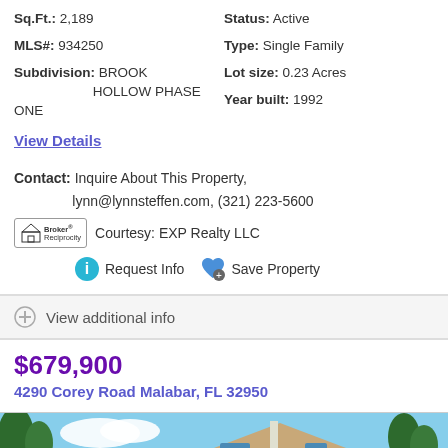Sq.Ft.: 2,189   Status: Active
MLS#: 934250   Type: Single Family
Subdivision: BROOK HOLLOW PHASE ONE   Lot size: 0.23 Acres
Year built: 1992
View Details
Contact: Inquire About This Property, lynn@lynnsteffen.com, (321) 223-5600
[Figure (logo): Broker Reciprocity logo with house icon]
Courtesy: EXP Realty LLC
Request Info   Save Property
View additional info
$679,900
4290 Corey Road Malabar, FL 32950
[Figure (photo): Exterior photo of a house with trees in background and blue sky]